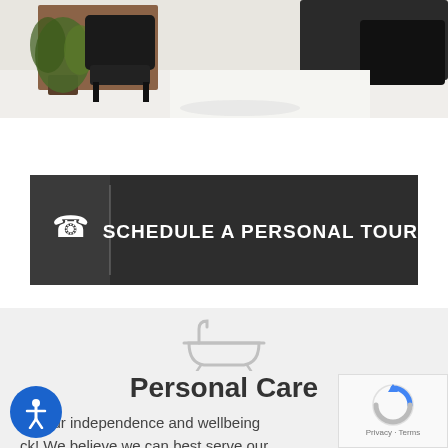[Figure (photo): Interior photo of a facility waiting area with dark chairs and a plant visible on white tile floor]
[Figure (infographic): Dark banner button with phone icon and text SCHEDULE A PERSONAL TOUR!]
[Figure (illustration): Light gray bathtub icon on gray background]
Personal Care
et your independence and wellbeing ck! We believe we can best serve our